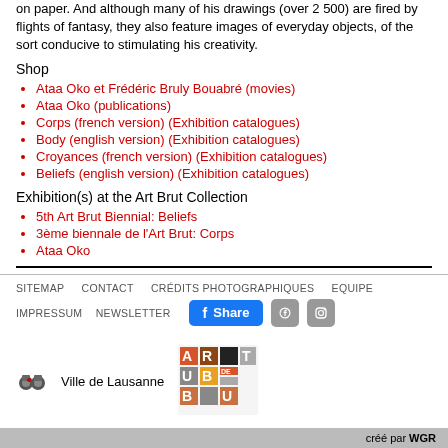on paper. And although many of his drawings (over 2 500) are fired by flights of fantasy, they also feature images of everyday objects, of the sort conducive to stimulating his creativity.
Shop
Ataa Oko et Frédéric Bruly Bouabré (movies)
Ataa Oko (publications)
Corps (french version) (Exhibition catalogues)
Body (english version) (Exhibition catalogues)
Croyances (french version) (Exhibition catalogues)
Beliefs (english version) (Exhibition catalogues)
Exhibition(s) at the Art Brut Collection
5th Art Brut Biennial: Beliefs
3ème biennale de l'Art Brut: Corps
Ataa Oko
SITEMAP   CONTACT   CRÉDITS PHOTOGRAPHIQUES   EQUIPE   IMPRESSUM   NEWSLETTER   Share   créé par WGR